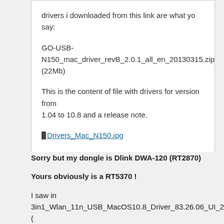drivers i downloaded from this link are what yo say:
GO-USB-N150_mac_driver_revB_2.0.1_all_en_20130315.zip (22Mb)
This is the content of file with drivers for version from 1.04 to 10.8 and a release note.
Drivers_Mac_N150.jpg
Did you tested with driver on Yosemite and works??
Thank you
Sorry but my dongle is Dlink DWA-120 (RT2870)
Yours obviously is a RT5370 !
I saw in 3in1_Wlan_11n_USB_MacOS10.8_Driver_83.26.06_UI_2.0.1.zip ( with Pacifist.app)